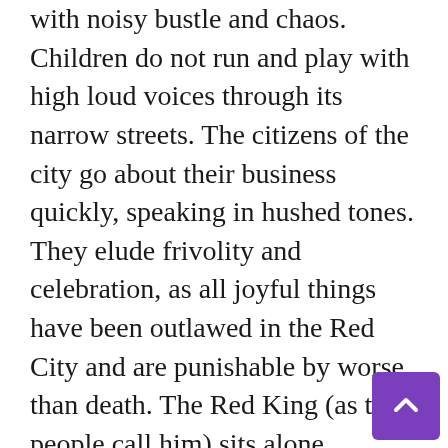with noisy bustle and chaos. Children do not run and play with high loud voices through its narrow streets. The citizens of the city go about their business quickly, speaking in hushed tones. They elude frivolity and celebration, as all joyful things have been outlawed in the Red City and are punishable by worse than death. The Red King (as the people call him) sits alone, watching from his golden palace, while his goons roam the city streets straining for the sound of laughter. Even infants are not allowed to giggle. Hushed and hidden, they are locked away by their families for fear of being lost.
For five long years, by royal decree, any child found laughing within the walls of the Red City has been put into the Enchanted Giggling Labyrinth of Inevitable Madness, never to be seen or heard fro...